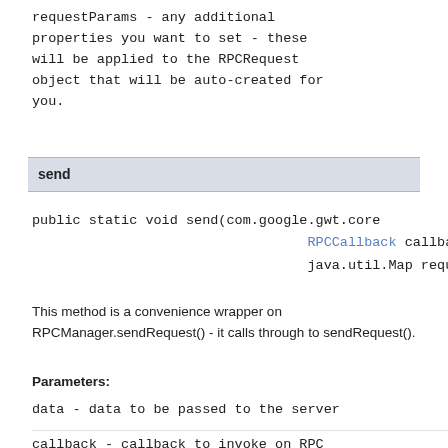requestParams - any additional properties you want to set - these will be applied to the RPCRequest object that will be auto-created for you.
send
public static void send(com.google.gwt.core... RPCCallback callba... java.util.Map reque...
This method is a convenience wrapper on RPCManager.sendRequest() - it calls through to sendRequest().
Parameters:
data - data to be passed to the server
callback - callback to invoke on RPC...